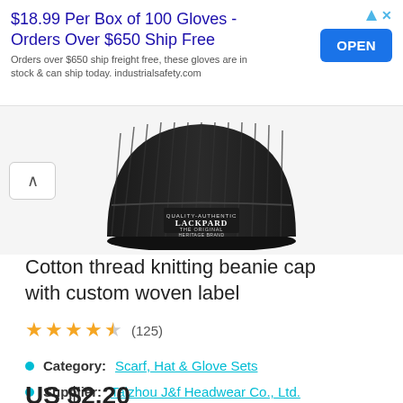[Figure (infographic): Advertisement banner: $18.99 Per Box of 100 Gloves - Orders Over $650 Ship Free. Open button in blue.]
[Figure (photo): Black knitted beanie cap with white woven label reading QUALITY-AUTHENTIC LACKPARD THE ORIGINAL HERITAGE BRAND]
Cotton thread knitting beanie cap with custom woven label
★★★★☆ (125)
Category: Scarf, Hat & Glove Sets
Supplier: Taizhou J&f Headwear Co., Ltd.
US $2.20